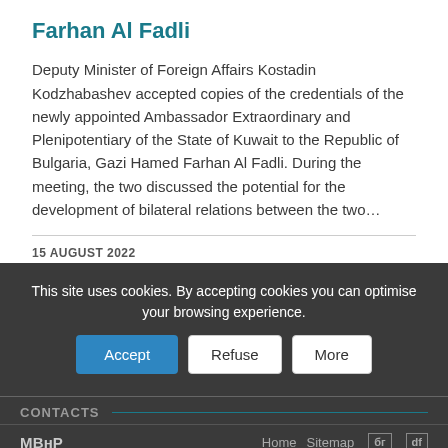Farhan Al Fadli
Deputy Minister of Foreign Affairs Kostadin Kodzhabashev accepted copies of the credentials of the newly appointed Ambassador Extraordinary and Plenipotentiary of the State of Kuwait to the Republic of Bulgaria, Gazi Hamed Farhan Al Fadli. During the meeting, the two discussed the potential for the development of bilateral relations between the two…
15 AUGUST 2022
This site uses cookies. By accepting cookies you can optimise your browsing experience.
CONTACTS
МВнР   Home  Sitemap  bg  df